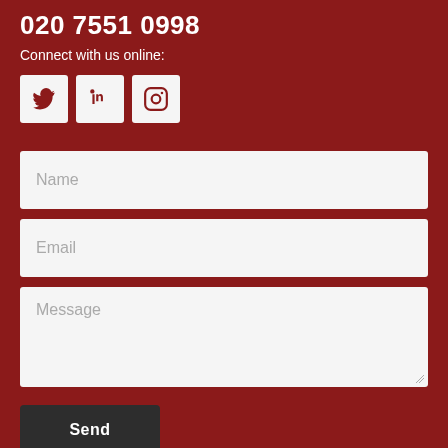020 7551 0998
Connect with us online:
[Figure (infographic): Three social media icon buttons: Twitter (bird icon), LinkedIn (in icon), Instagram (camera icon), each in a white/light grey square]
Name
Email
Message
Send